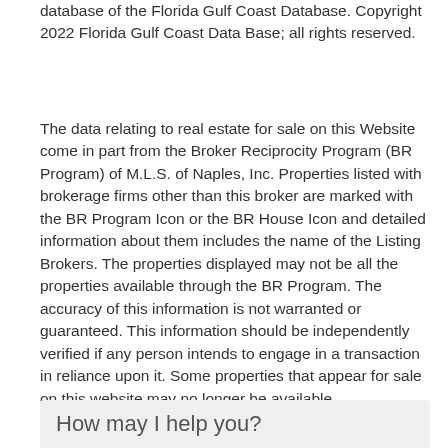database of the Florida Gulf Coast Database. Copyright 2022 Florida Gulf Coast Data Base; all rights reserved.
The data relating to real estate for sale on this Website come in part from the Broker Reciprocity Program (BR Program) of M.L.S. of Naples, Inc. Properties listed with brokerage firms other than this broker are marked with the BR Program Icon or the BR House Icon and detailed information about them includes the name of the Listing Brokers. The properties displayed may not be all the properties available through the BR Program. The accuracy of this information is not warranted or guaranteed. This information should be independently verified if any person intends to engage in a transaction in reliance upon it. Some properties that appear for sale on this website may no longer be available.
How may I help you?